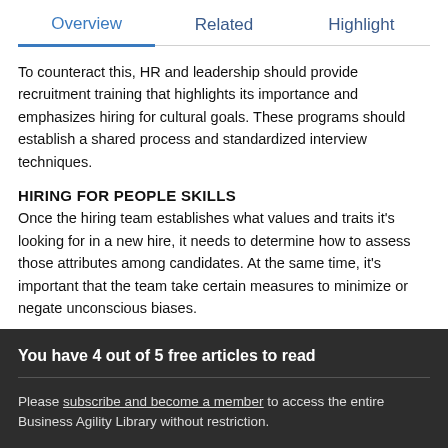Overview   Related   Highlight
To counteract this, HR and leadership should provide recruitment training that highlights its importance and emphasizes hiring for cultural goals. These programs should establish a shared process and standardized interview techniques.
HIRING FOR PEOPLE SKILLS
Once the hiring team establishes what values and traits it's looking for in a new hire, it needs to determine how to assess those attributes among candidates. At the same time, it's important that the team take certain measures to minimize or negate unconscious biases.
Let's take a look at some of the tools and techniques that
You have 4 out of 5 free articles to read
Please subscribe and become a member to access the entire Business Agility Library without restriction.